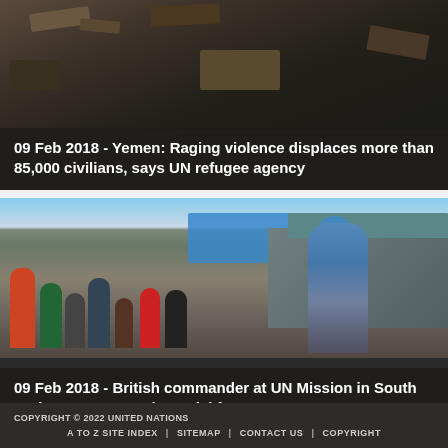[Figure (photo): Debris and destruction scene, likely from Yemen conflict]
09 Feb 2018 - Yemen: Raging violence displaces more than 85,000 civilians, says UN refugee agency
[Figure (photo): British UN commander in blue beret interacting with children in South Sudan camp]
09 Feb 2018 - British commander at UN Mission in South Sudan serves as role model for young women
COPYRIGHT © 2022 UNITED NATIONS
A TO Z SITE INDEX  |  SITEMAP  |  CONTACT US  |  COPYRIGHT